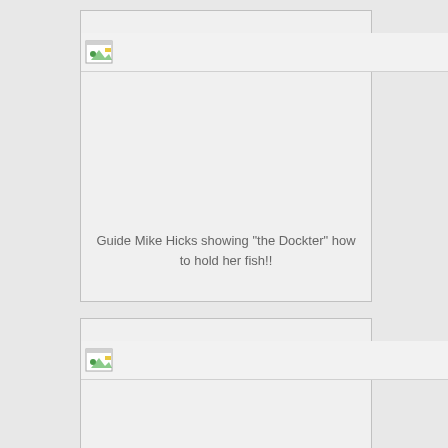[Figure (photo): Broken image placeholder - first photo]
Guide Mike Hicks showing "the Dockter" how to hold her fish!!
[Figure (photo): Broken image placeholder - second photo]